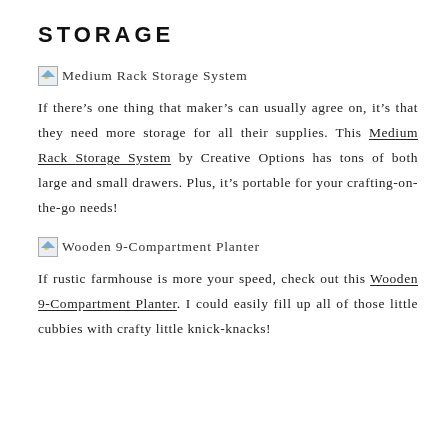STORAGE
[Figure (photo): Small image icon for Medium Rack Storage System link]
If there’s one thing that maker’s can usually agree on, it’s that they need more storage for all their supplies. This Medium Rack Storage System by Creative Options has tons of both large and small drawers. Plus, it’s portable for your crafting-on-the-go needs!
[Figure (photo): Small image icon for Wooden 9-Compartment Planter link]
If rustic farmhouse is more your speed, check out this Wooden 9-Compartment Planter. I could easily fill up all of those little cubbies with crafty little knick-knacks!